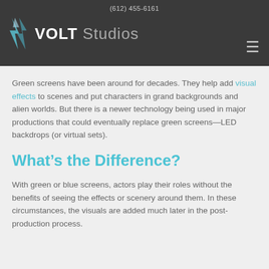(612) 455-6161  VOLT Studios
Green screens have been around for decades. They help add visual effects to scenes and put characters in grand backgrounds and alien worlds. But there is a newer technology being used in major productions that could eventually replace green screens—LED backdrops (or virtual sets).
What's the Difference?
With green or blue screens, actors play their roles without the benefits of seeing the effects or scenery around them. In these circumstances, the visuals are added much later in the post-production process.